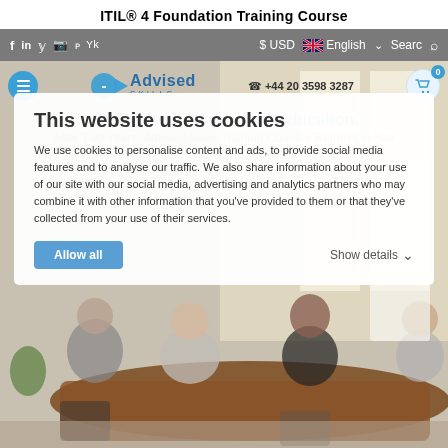ITIL® 4 Foundation Training Course
[Figure (screenshot): Website screenshot showing Advised Skills training website with navigation bar, logo, phone number, cart icon, hero image of training room with people, and a cookie consent overlay dialog.]
This website uses cookies
We use cookies to personalise content and ads, to provide social media features and to analyse our traffic. We also share information about your use of our site with our social media, advertising and analytics partners who may combine it with other information that you've provided to them or that they've collected from your use of their services.
Allow all
Show details